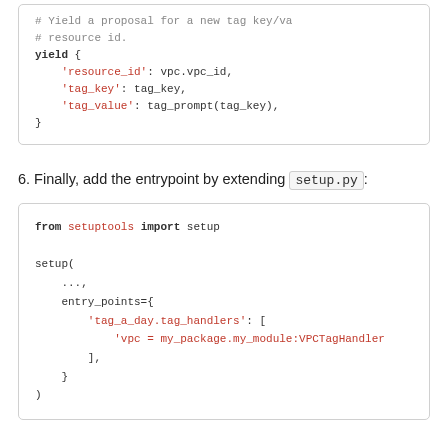[Figure (other): Code block showing Python yield statement with resource_id, tag_key, tag_value keys]
6. Finally, add the entrypoint by extending setup.py:
[Figure (other): Code block showing Python setup.py with from setuptools import setup, setup() call with entry_points including tag_a_day.tag_handlers key pointing to vpc = my_package.my_module:VPCTagHandler]